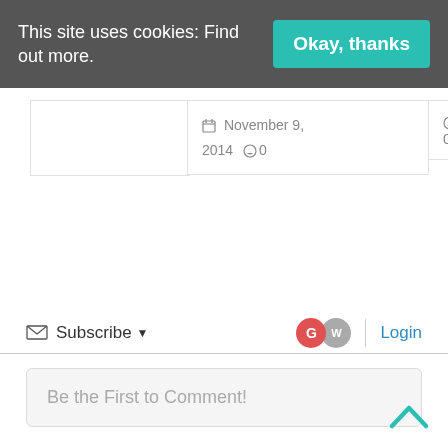This site uses cookies: Find out more.
Okay, thanks
November 9, 2014  0
0
Subscribe  Login
Be the First to Comment!